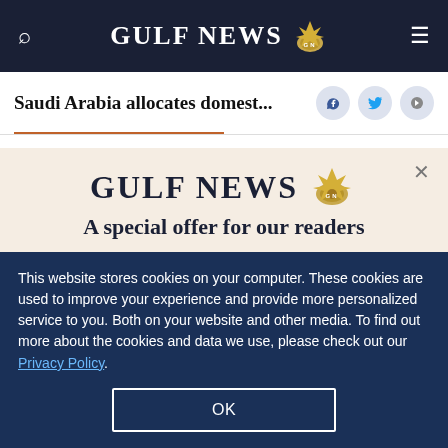GULF NEWS
Saudi Arabia allocates domest...
The open buffet service will also be revived after a
[Figure (screenshot): Gulf News subscription modal overlay with logo, offer text: A special offer for our readers, Get the two years All-Access subscription now]
This website stores cookies on your computer. These cookies are used to improve your experience and provide more personalized service to you. Both on your website and other media. To find out more about the cookies and data we use, please check out our Privacy Policy.
OK